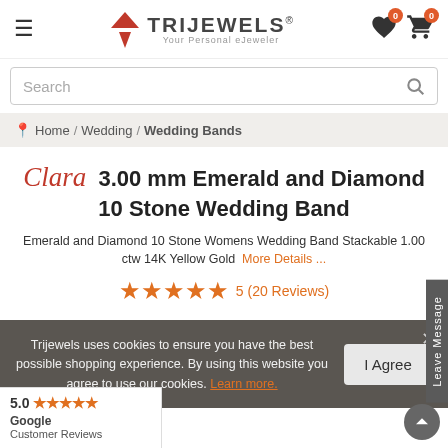TriJewels – Your Personal eJeweler
Search
Home / Wedding / Wedding Bands
Clara 3.00 mm Emerald and Diamond 10 Stone Wedding Band
Emerald and Diamond 10 Stone Womens Wedding Band Stackable 1.00 ctw 14K Yellow Gold  More Details ...
5 (20 Reviews)
Trijewels uses cookies to ensure you have the best possible shopping experience. By using this website you agree to use our cookies. Learn more.
I Agree
5.0 ★★★★★ Google Customer Reviews